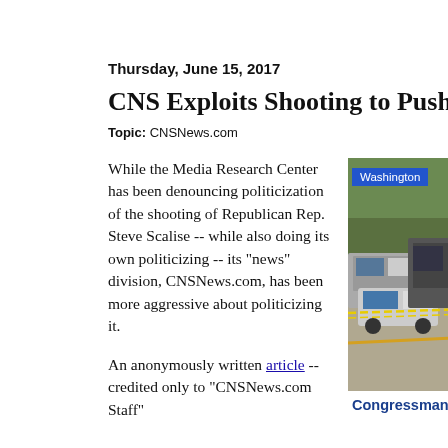Thursday, June 15, 2017
CNS Exploits Shooting to Push Guns, Bash L
Topic: CNSNews.com
While the Media Research Center has been denouncing politicization of the shooting of Republican Rep. Steve Scalise -- while also doing its own politicizing -- its "news" division, CNSNews.com, has been more aggressive about politicizing it.
An anonymously written article -- credited only to "CNSNews.com Staff"
[Figure (photo): News photograph showing a street scene after a shooting, with police vehicles, emergency responders, and yellow crime scene tape. A 'Washington' label badge appears in the upper left corner of the image.]
Congressman: 'By the Gra